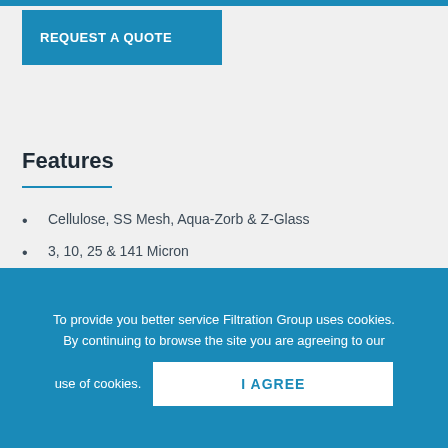REQUEST A QUOTE
Features
Cellulose, SS Mesh, Aqua-Zorb & Z-Glass
3, 10, 25 & 141 Micron
3.91" OD x 1.96" ID
9" & 18" Nominal Lengths
Buna-N or Fluorocarbon Seals
For use with RE, WF and TR Series Tank Top
To provide you better service Filtration Group uses cookies. By continuing to browse the site you are agreeing to our use of cookies.
I AGREE